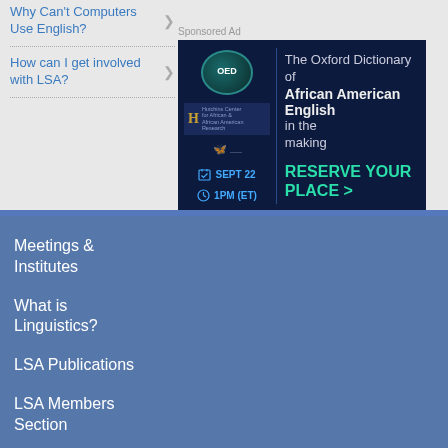Why Can't Computers Use English?
How can I get involved with LSA?
[Figure (infographic): Sponsored advertisement for The Oxford Dictionary of African American English in the making. Shows OED logo, Hutchins Center logo, butterfly icon, date SEPT 22, time 1PM (ET), with text RESERVE YOUR PLACE >]
Meetings & Institutes
What is Linguistics?
LSA Publications
LSA Members Section